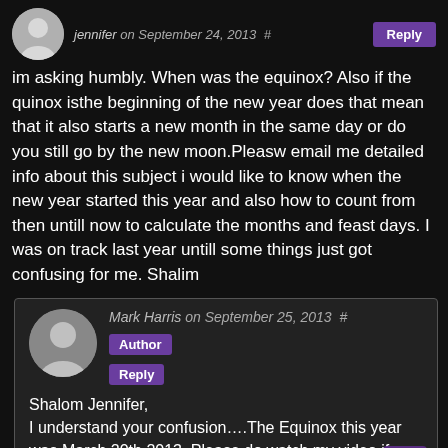jennifer on September 24, 2013 # Reply
im asking humbly. When was the equinox? Also if the quinox isthe beginning of the new year does that mean that it also starts a new month in the same day or do you still go by the new moon.Pleasw email me detailed info about this subject i would like to know when the new year started this year and also how to count from then untill now to calculate the months and feast days. I was on track last year untill some things just got confusing for me. Shalim
Mark Harris on September 25, 2013 # Author Reply
Shalom Jennifer,
I understand your confusion….The Equinox this year was March 20th 2013. Please do watch my video if you have not already as I think it will answer your